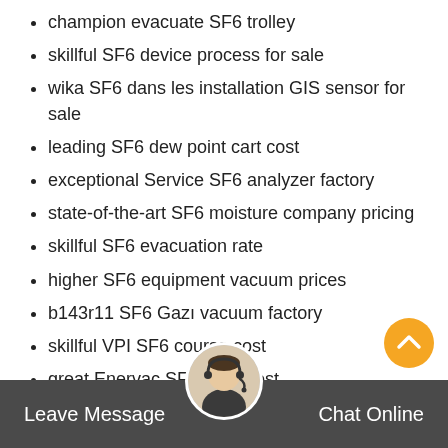champion evacuate SF6 trolley
skillful SF6 device process for sale
wika SF6 dans les installation GIS sensor for sale
leading SF6 dew point cart cost
exceptional Service SF6 analyzer factory
state-of-the-art SF6 moisture company pricing
skillful SF6 evacuation rate
higher SF6 equipment vacuum prices
b143r11 SF6 Gazı vacuum factory
skillful VPI SF6 course cost
great Enervac SF6 tools cost
b143r11 SF6 connector procedure cost
state-of-the-art SF6 switchgear for sale
gru-7 fill SF6 machine manual
Leave Message   Chat Online